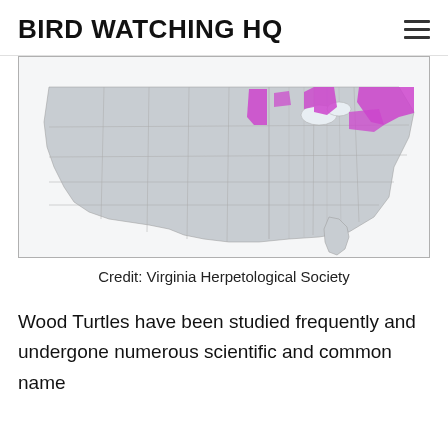BIRD WATCHING HQ
[Figure (map): Map of the United States showing the range of Wood Turtles, highlighted in magenta/pink in the northeastern states and parts of the upper Midwest (Minnesota, Wisconsin, Michigan, and New England states). The rest of the US is shown in light gray with county lines.]
Credit: Virginia Herpetological Society
Wood Turtles have been studied frequently and undergone numerous scientific and common name